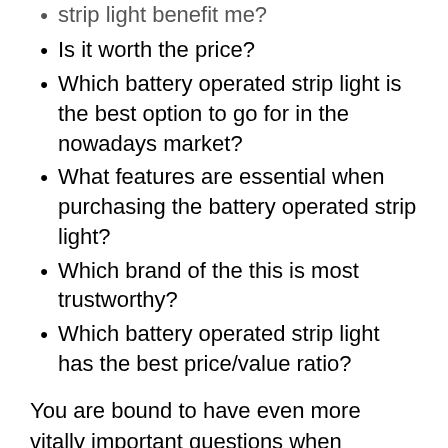strip light benefit me?
Is it worth the price?
Which battery operated strip light is the best option to go for in the nowadays market?
What features are essential when purchasing the battery operated strip light?
Which brand of the this is most trustworthy?
Which battery operated strip light has the best price/value ratio?
You are bound to have even more vitally important questions when purchasing the battery operated strip light. The best way to inform yourself about it is a meticulous exploration of internet resources and